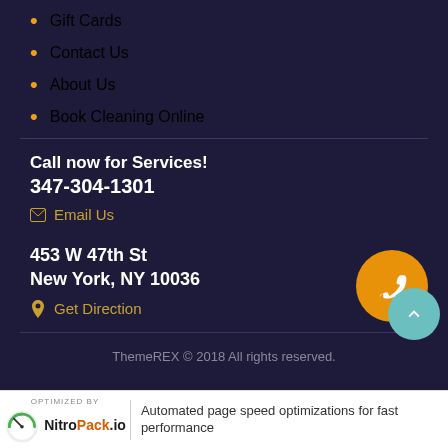Gift Cards
Contact Us
About Us
Book Cleaning Online
Call now for Services!
347-304-1301
Email Us
453 W 47th St
New York, NY 10036
Get Direction
ThemeREX © 2018 All rights reserved.
[Figure (screenshot): NitroPack.io optimization bar with gauge logo and text: Automated page speed optimizations for fast performance]